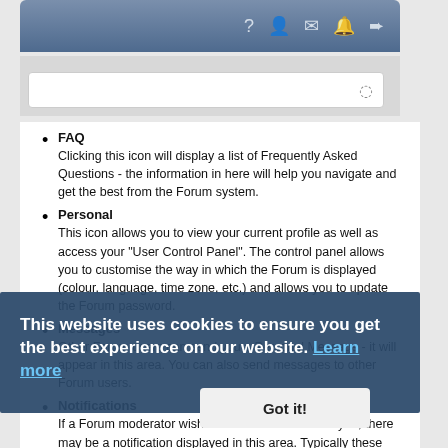[Figure (screenshot): Top navigation bar with icons: FAQ (question mark), Personal (person), Messages (envelope), Notifications (bell), and Logout (arrow)]
[Figure (screenshot): Search input box with a clock/history icon on the right]
FAQ
Clicking this icon will display a list of Frequently Asked Questions - the information in here will help you navigate and get the best from the Forum system.
Personal
This icon allows you to view your current profile as well as access your "User Control Panel". The control panel allows you to customise the way in which the Forum is displayed (colour, language, time zone, etc.) and allows you to update the Forum password.
Messages
Other Forum users can send you a Personal Message - it will appear in this area. You can also send messages to other Forum users.
Notifications
If a Forum moderator wishes to make contact with you, there may be a notification displayed in this area. Typically these types of notifications would be sent to multiple users
This website uses cookies to ensure you get the best experience on our website. Learn more
Got it!